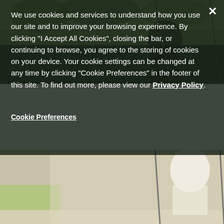[Figure (photo): Outdoor playground scene showing a child on a swing with a woman (caregiver) behind them. Background has trees and green foliage. The image is partially obscured by a cookie consent overlay dialog.]
We use cookies and services to understand how you use our site and to improve your browsing experience. By clicking "I Accept All Cookies", closing the bar, or continuing to browse, you agree to the storing of cookies on your device. Your cookie settings can be changed at any time by clicking "Cookie Preferences" in the footer of this site. To find out more, please view our Privacy Policy.
Cookie Preferences
I Accept All Cookies